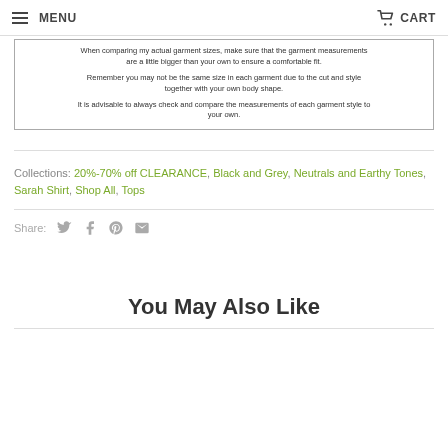MENU  CART
When comparing my actual garment sizes, make sure that the garment measurements are a little bigger than your own to ensure a comfortable fit.

Remember you may not be the same size in each garment due to the cut and style together with your own body shape.

It is advisable to always check and compare the measurements of each garment style to your own.
Collections: 20%-70% off CLEARANCE, Black and Grey, Neutrals and Earthy Tones, Sarah Shirt, Shop All, Tops
Share:
You May Also Like